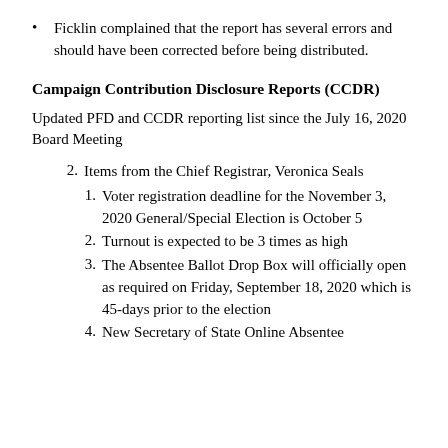Ficklin complained that the report has several errors and should have been corrected before being distributed.
Campaign Contribution Disclosure Reports (CCDR)
Updated PFD and CCDR reporting list since the July 16, 2020 Board Meeting
2. Items from the Chief Registrar, Veronica Seals
1. Voter registration deadline for the November 3, 2020 General/Special Election is October 5
2. Turnout is expected to be 3 times as high
3. The Absentee Ballot Drop Box will officially open as required on Friday, September 18, 2020 which is 45-days prior to the election
4. New Secretary of State Online Absentee